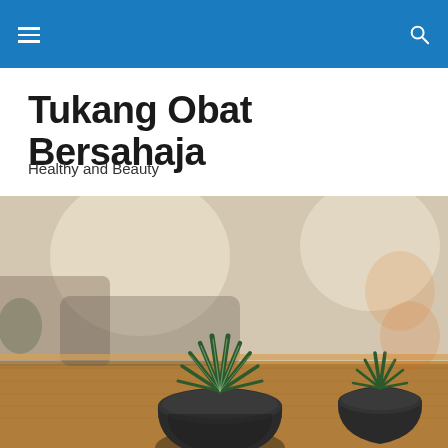Tukang Obat Bersahaja — navigation bar with hamburger menu and search icon
Tukang Obat Bersahaja
Healthy and Beauty
[Figure (photo): Close-up photo of a small succulent plant in a round dark matte pot sitting on a wooden table, with a blurred indoor background and another plant in a similar pot to the right.]